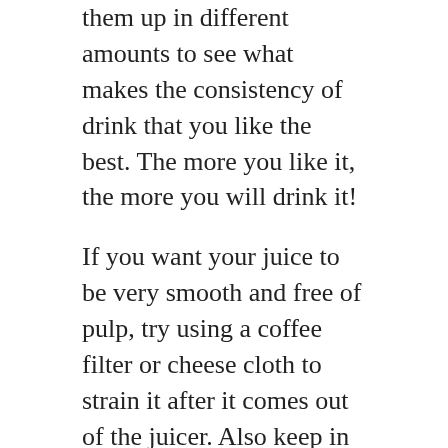them up in different amounts to see what makes the consistency of drink that you like the best. The more you like it, the more you will drink it!
If you want your juice to be very smooth and free of pulp, try using a coffee filter or cheese cloth to strain it after it comes out of the juicer. Also keep in mind that the softer the produce used, the thicker the juice tends to be for example, tomato juice.
Find a juicing community online and sign up to learn more about what others have tried. They'll have tons of recipe ideas, warnings about things they tried and failed, and support for you when